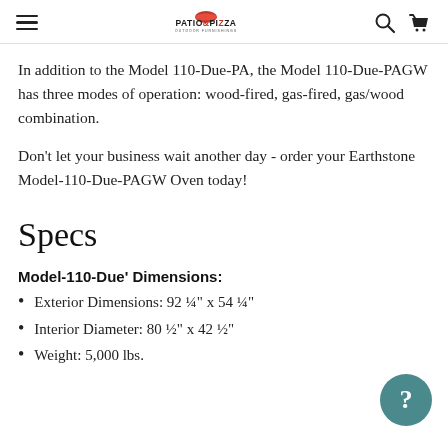Patio & Pizza Outdoor Furnishings
In addition to the Model 110-Due-PA, the Model 110-Due-PAGW has three modes of operation: wood-fired, gas-fired, gas/wood combination.
Don't let your business wait another day - order your Earthstone Model-110-Due-PAGW Oven today!
Specs
Model-110-Due' Dimensions:
Exterior Dimensions: 92 ¼" x 54 ¼"
Interior Diameter: 80 ½" x 42 ½"
Weight: 5,000 lbs.